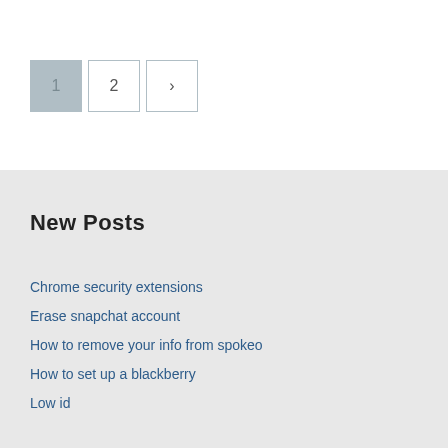[Figure (other): Pagination controls showing page 1 (active/highlighted in light blue-gray), page 2, and a next arrow (>) button, all rendered as square bordered boxes.]
New Posts
Chrome security extensions
Erase snapchat account
How to remove your info from spokeo
How to set up a blackberry
Low id